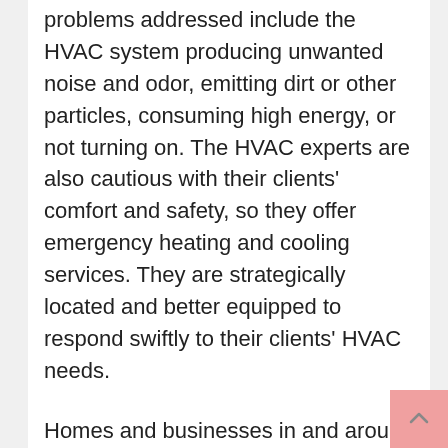problems addressed include the HVAC system producing unwanted noise and odor, emitting dirt or other particles, consuming high energy, or not turning on. The HVAC experts are also cautious with their clients' comfort and safety, so they offer emergency heating and cooling services. They are strategically located and better equipped to respond swiftly to their clients' HVAC needs.
Homes and businesses in and around Manasquan, New Jersey, can rely on the specialists' HVAC maintenance services to ensure that their equipment operates optimally, especially during the winter and summer months. With this service, they offer comprehensive diagnosis and conduct any